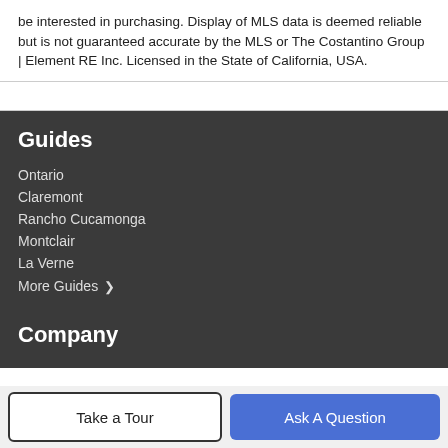be interested in purchasing. Display of MLS data is deemed reliable but is not guaranteed accurate by the MLS or The Costantino Group | Element RE Inc. Licensed in the State of California, USA.
Guides
Ontario
Claremont
Rancho Cucamonga
Montclair
La Verne
More Guides >
Company
Take a Tour
Ask A Question